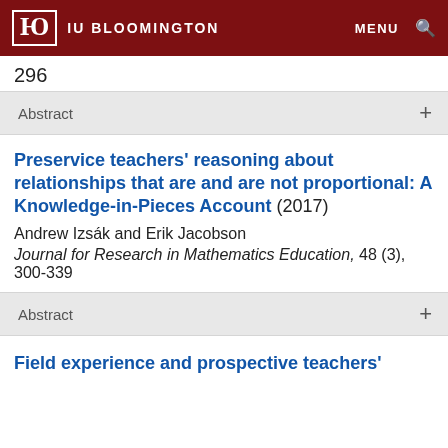IU BLOOMINGTON  MENU 🔍
296
Abstract  +
Preservice teachers' reasoning about relationships that are and are not proportional: A Knowledge-in-Pieces Account (2017)
Andrew Izsák and Erik Jacobson
Journal for Research in Mathematics Education, 48 (3), 300-339
Abstract  +
Field experience and prospective teachers'